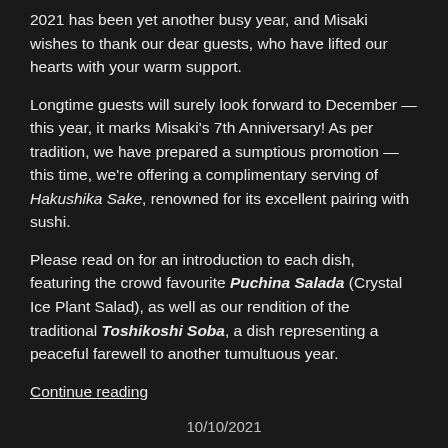2021 has been yet another busy year, and Misaki wishes to thank our dear guests, who have lifted our hearts with your warm support.
Longtime guests will surely look forward to December — this year, it marks Misaki's 7th Anniversary! As per tradition, we have prepared a sumptious promotion — this time, we're offering a complimentary serving of Hakushika Sake, renowned for its excellent pairing with sushi.
Please read on for an introduction to each dish, featuring the crowd favourite Puchina Salada (Crystal Ice Plant Salad), as well as our rendition of the traditional Toshikoshi Soba, a dish representing a peaceful farewell to another tumultuous year.
Continue reading
10/10/2021